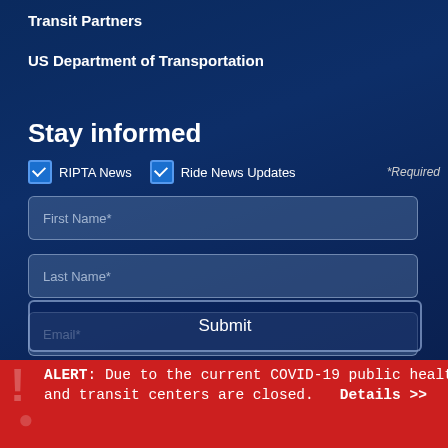Transit Partners
US Department of Transportation
Stay informed
✓ RIPTA News   ✓ Ride News Updates   *Required
First Name*
Last Name*
Email*
Submit
ALERT: Due to the current COVID-19 public health crisis, many RIPTA Offices and transit centers are closed.  Details >>